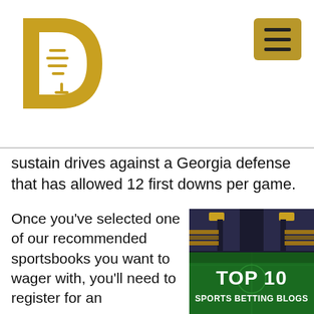[Figure (logo): Gold letter D with microphone logo]
[Figure (other): Hamburger menu icon on gold/brown square background]
sustain drives against a Georgia defense that has allowed 12 first downs per game.
Once you've selected one of our recommended sportsbooks you want to wager with, you'll need to register for an
[Figure (photo): Sports stadium aerial view with green field and text overlay reading TOP 10 SPORTS BETTING BLOGS]